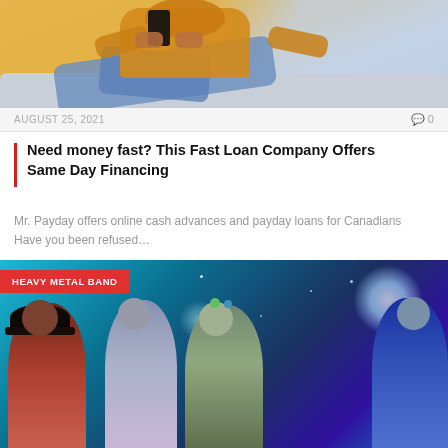[Figure (photo): Person in yellow/orange hoodie sitting on a grey sofa holding a smartphone]
AUGUST 25, 2021
0
Need money fast? This Fast Loan Company Offers Same Day Financing
Mr. Payday offers online cash advances and payday loans for Canadians Have you been refused…
[Figure (photo): Heavy metal band photo with four band members against a teal/blue cosmic background. Tag reads HEAVY METAL BAND.]